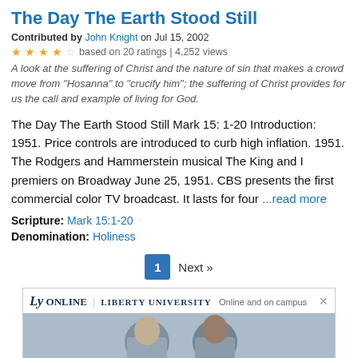The Day The Earth Stood Still
Contributed by John Knight on Jul 15, 2002
★★★★☆ based on 20 ratings | 4,252 views
A look at the suffering of Christ and the nature of sin that makes a crowd move from "Hosanna" to "crucify him"; the suffering of Christ provides for us the call and example of living for God.
The Day The Earth Stood Still Mark 15: 1-20 Introduction: 1951. Price controls are introduced to curb high inflation. 1951. The Rodgers and Hammerstein musical The King and I premiers on Broadway June 25, 1951. CBS presents the first commercial color TV broadcast. It lasts for four ...read more
Scripture: Mark 15:1-20
Denomination: Holiness
1  Next »
[Figure (screenshot): Liberty University Online advertisement banner with LU logo, tagline 'Online and on campus', close button, and photo of two people]